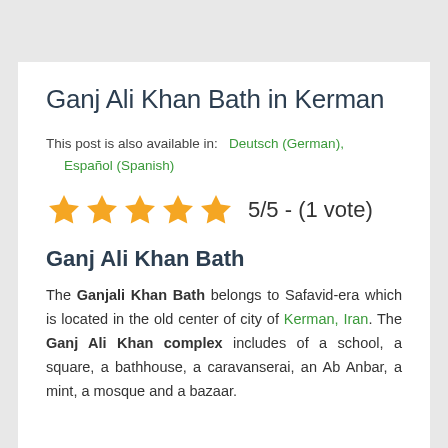Ganj Ali Khan Bath in Kerman
This post is also available in: Deutsch (German), Español (Spanish)
5/5 - (1 vote)
Ganj Ali Khan Bath
The Ganjali Khan Bath belongs to Safavid-era which is located in the old center of city of Kerman, Iran. The Ganj Ali Khan complex includes of a school, a square, a bathhouse, a caravanserai, an Ab Anbar, a mint, a mosque and a bazaar.